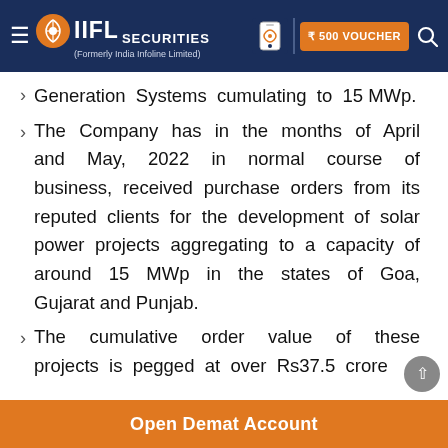IIFL Securities (Formerly India Infoline Limited) | ₹500 VOUCHER
Generation Systems cumulating to 15 MWp.
The Company has in the months of April and May, 2022 in normal course of business, received purchase orders from its reputed clients for the development of solar power projects aggregating to a capacity of around 15 MWp in the states of Goa, Gujarat and Punjab.
The cumulative order value of these projects is pegged at over Rs37.5 crore
Open Demat Account